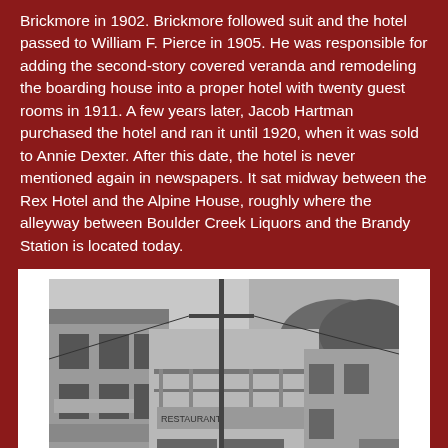Brickmore in 1902. Brickmore followed suit and the hotel passed to William F. Pierce in 1905. He was responsible for adding the second-story covered veranda and remodeling the boarding house into a proper hotel with twenty guest rooms in 1911. A few years later, Jacob Hartman purchased the hotel and ran it until 1920, when it was sold to Annie Dexter. After this date, the hotel is never mentioned again in newspapers. It sat midway between the Rex Hotel and the Alpine House, roughly where the alleyway between Boulder Creek Liquors and the Brandy Station is located today.
[Figure (photo): Black and white photograph of a trio of hotels on Central Avenue circa 1912, showing storefronts with a telegraph pole in the foreground and a building with a second-story veranda.]
A trio of hotels on Central Avenue, c. 1912. In the foreground is the Rex Hotel, next to it sits the original Basham House, and in the distance is the